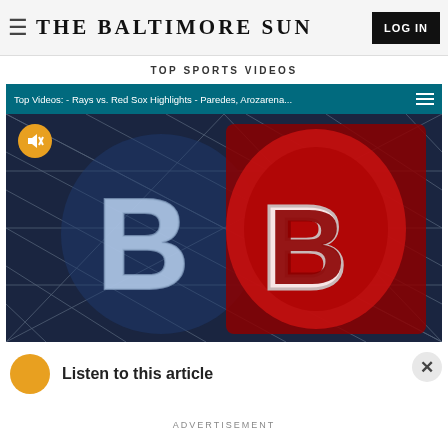THE BALTIMORE SUN
TOP SPORTS VIDEOS
[Figure (screenshot): Video player showing Rays vs Red Sox logos with title bar: Top Videos: - Rays vs. Red Sox Highlights - Paredes, Arozarena... Mute button visible as yellow circle with speaker icon.]
Listen to this article
ADVERTISEMENT